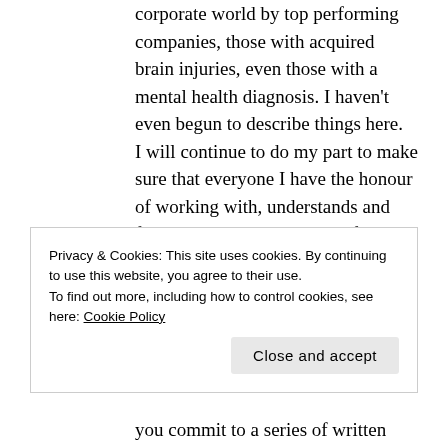corporate world by top performing companies, those with acquired brain injuries, even those with a mental health diagnosis. I haven't even begun to describe things here.
I will continue to do my part to make sure that everyone I have the honour of working with, understands and follows best practices in the field. It's an uphill battle, but I believe that at eventually the hard work will pay off, and we will master training our practitioners to
Privacy & Cookies: This site uses cookies. By continuing to use this website, you agree to their use.
To find out more, including how to control cookies, see here: Cookie Policy
you commit to a series of written